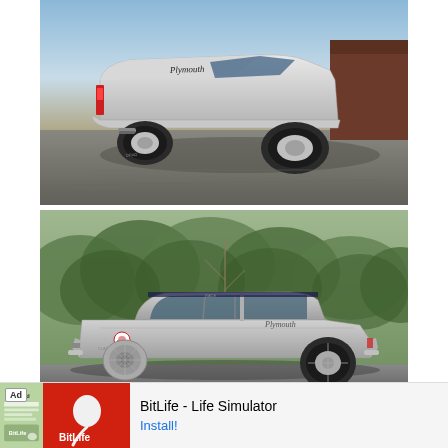[Figure (photo): Rear three-quarter view of a silver Plymouth classic muscle car on a tarmac surface with blue sky background and a barn/building visible on the right. The trunk lid shows 'Plymouth' lettering. The car has drag racing rear tires.]
[Figure (photo): Side profile view of a gray Plymouth classic muscle/drag racing car parked in front of dense green bushes/hedgerow. The car shows 'Plymouth' lettering on the side, roll cage visible through windows, and racing decals on the door.]
Ad  BitLife - Life Simulator  Install!